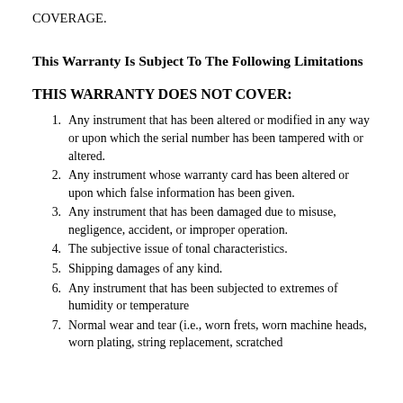COVERAGE.
This Warranty Is Subject To The Following Limitations
THIS WARRANTY DOES NOT COVER:
Any instrument that has been altered or modified in any way or upon which the serial number has been tampered with or altered.
Any instrument whose warranty card has been altered or upon which false information has been given.
Any instrument that has been damaged due to misuse, negligence, accident, or improper operation.
The subjective issue of tonal characteristics.
Shipping damages of any kind.
Any instrument that has been subjected to extremes of humidity or temperature
Normal wear and tear (i.e., worn frets, worn machine heads, worn plating, string replacement, scratched